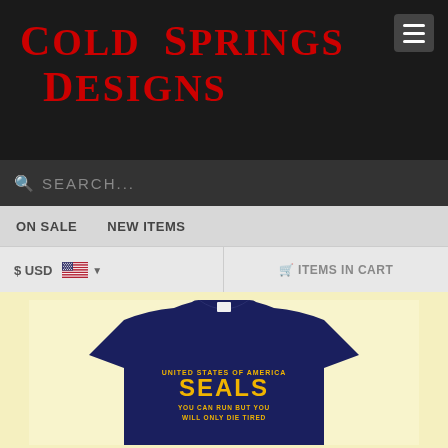Cold Springs Designs
Search...
ON SALE
NEW ITEMS
$ USD
ITEMS IN CART
[Figure (photo): Navy blue t-shirt with yellow text reading UNITED STATES OF AMERICA SEALS YOU CAN RUN BUT YOU WILL ONLY DIE TIRED]